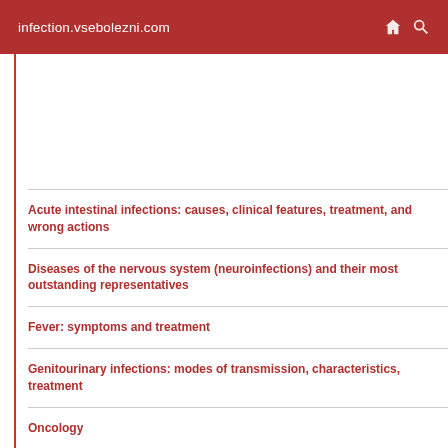infection.vsebolezni.com
Acute intestinal infections: causes, clinical features, treatment, and wrong actions
Diseases of the nervous system (neuroinfections) and their most outstanding representatives
Fever: symptoms and treatment
Genitourinary infections: modes of transmission, characteristics, treatment
Oncology